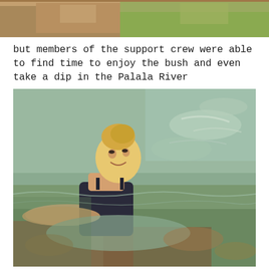[Figure (photo): Partial top photo showing what appears to be horses or animals with grass/ground visible, cropped at top of page]
but members of the support crew were able to find time to enjoy the bush and even take a dip in the Palala River
[Figure (photo): A blonde woman with hair up in a bun, wearing a dark swimsuit, sitting in the Palala River, smiling, with rocky riverbed and water visible around her]